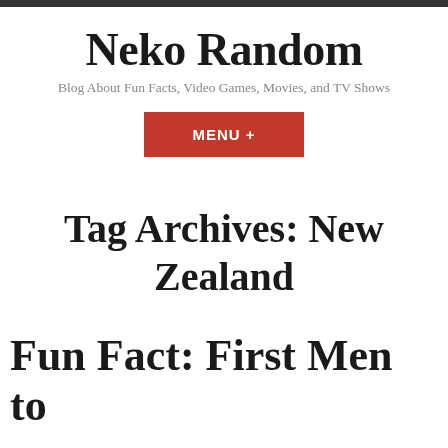Neko Random
Blog About Fun Facts, Video Games, Movies, and TV Shows
MENU +
Tag Archives: New Zealand
Fun Fact: First Men to